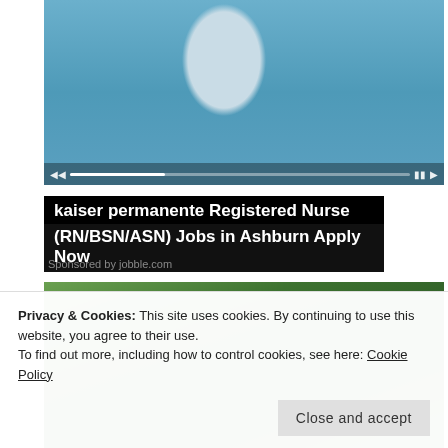[Figure (photo): A nurse in blue scrubs with a stethoscope, video player controls visible at bottom of image]
kaiser permanente Registered Nurse (RN/BSN/ASN) Jobs in Ashburn Apply Now
Sponsored by jobble.com
[Figure (photo): Two people wearing sunglasses outdoors with green trees/landscape in background]
Privacy & Cookies: This site uses cookies. By continuing to use this website, you agree to their use.
To find out more, including how to control cookies, see here: Cookie Policy
Close and accept